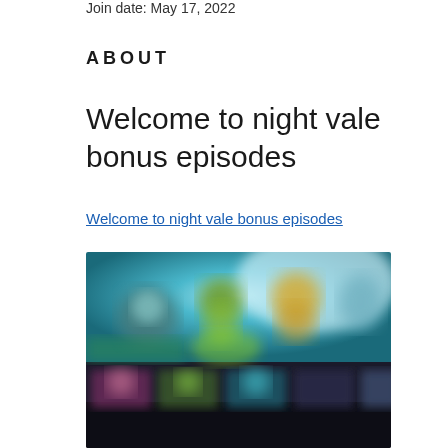Join date: May 17, 2022
ABOUT
Welcome to night vale bonus episodes
Welcome to night vale bonus episodes
[Figure (screenshot): Blurred screenshot of a streaming service interface showing animated/colorful show thumbnails on a dark background]